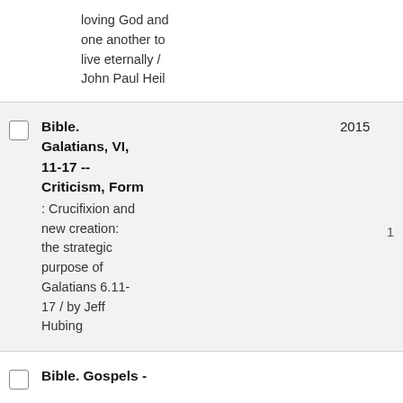loving God and one another to live eternally / John Paul Heil
Bible. Galatians, VI, 11-17 -- Criticism, Form : Crucifixion and new creation: the strategic purpose of Galatians 6.11-17 / by Jeff Hubing | 2015 | 1
Bible. Gospels -